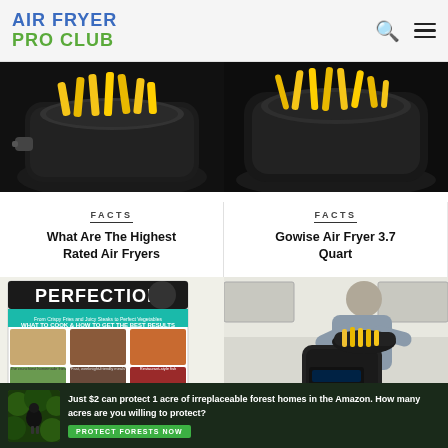AIR FRYER PRO CLUB
[Figure (photo): Black air fryer with french fries in basket, viewed from above/side]
[Figure (photo): Black air fryer with french fries in basket, different angle]
FACTS
What Are The Highest Rated Air Fryers
FACTS
Gowise Air Fryer 3.7 Quart
[Figure (photo): Book cover titled PERFECTION showing various food dishes cooked in air fryer]
[Figure (photo): Man in grey t-shirt using a Ninja air fryer in kitchen]
COOK
FACTS
[Figure (photo): Advertisement banner: bird in forest, text: Just $2 can protect 1 acre of irreplaceable forest homes in the Amazon. How many acres are you willing to protect? PROTECT FORESTS NOW]